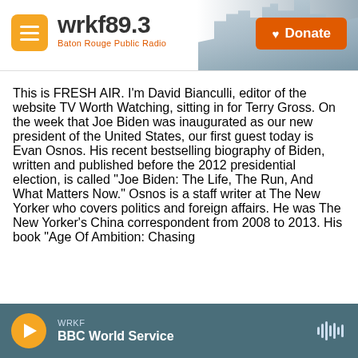wrkf89.3 Baton Rouge Public Radio | Donate
This is FRESH AIR. I'm David Bianculli, editor of the website TV Worth Watching, sitting in for Terry Gross. On the week that Joe Biden was inaugurated as our new president of the United States, our first guest today is Evan Osnos. His recent bestselling biography of Biden, written and published before the 2012 presidential election, is called "Joe Biden: The Life, The Run, And What Matters Now." Osnos is a staff writer at The New Yorker who covers politics and foreign affairs. He was The New Yorker's China correspondent from 2008 to 2013. His book "Age Of Ambition: Chasing
WRKF | BBC World Service